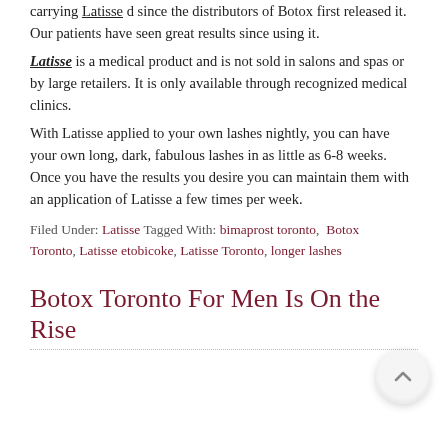carrying Latisse d since the distributors of Botox first released it. Our patients have seen great results since using it.
Latisse is a medical product and is not sold in salons and spas or by large retailers. It is only available through recognized medical clinics.
With Latisse applied to your own lashes nightly, you can have your own long, dark, fabulous lashes in as little as 6-8 weeks. Once you have the results you desire you can maintain them with an application of Latisse a few times per week.
Filed Under: Latisse Tagged With: bimaprost toronto, Botox Toronto, Latisse etobicoke, Latisse Toronto, longer lashes
Botox Toronto For Men Is On the Rise